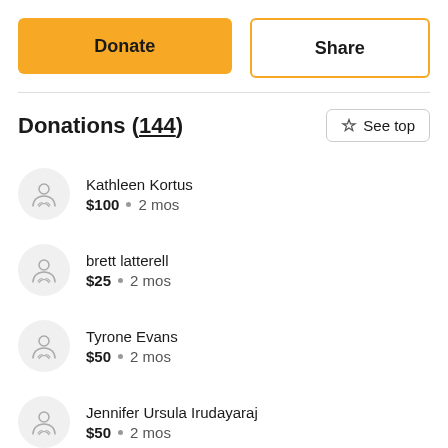Donate
Share
Donations (144)
See top
Kathleen Kortus · $100 · 2 mos
brett latterell · $25 · 2 mos
Tyrone Evans · $50 · 2 mos
Jennifer Ursula Irudayaraj · $50 · 2 mos